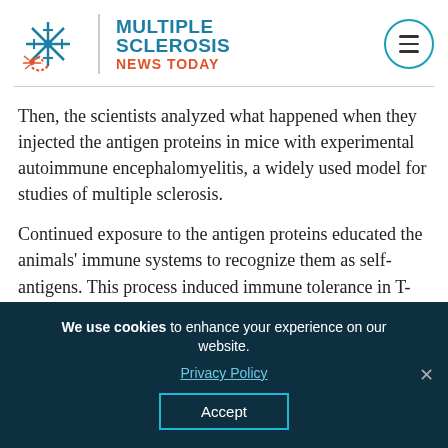[Figure (logo): Multiple Sclerosis News Today logo with snowflake/nerve cell icon and site name]
Then, the scientists analyzed what happened when they injected the antigen proteins in mice with experimental autoimmune encephalomyelitis, a widely used model for studies of multiple sclerosis.
Continued exposure to the antigen proteins educated the animals' immune systems to recognize them as self-antigens. This process induced immune tolerance in T-cells while leaving the rest of the immune system intact. It also prevented mice from showing symptoms of the
We use cookies to enhance your experience on our website. Privacy Policy Accept